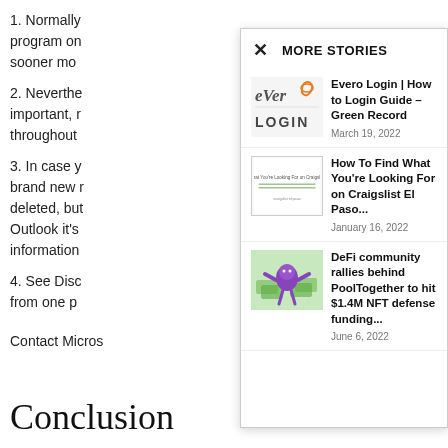1. Normally program on sooner mo
2. Neverthe important, r throughout
3. In case y brand new r deleted, but Outlook it's information
4. See Disc from one p
Contact Micros
[Figure (screenshot): MORE STORIES modal panel with close button (×), containing three story items: 1) Evero Login | How to Login Guide – Green Record (March 19, 2022), 2) How To Find What You're Looking For on Craigslist El Paso... (January 16, 2022), 3) DeFi community rallies behind PoolTogether to hit $1.4M NFT defense funding... (June 6, 2022)]
Conclusion